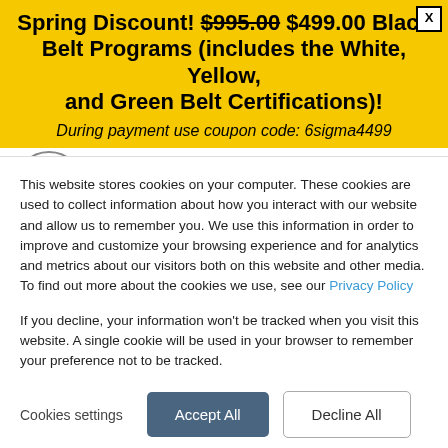Spring Discount! $995.00 $499.00 Black Belt Programs (includes the White, Yellow, and Green Belt Certifications)!
During payment use coupon code: 6sigma4499
industry accreditation provider to colleges, universities, and private
This website stores cookies on your computer. These cookies are used to collect information about how you interact with our website and allow us to remember you. We use this information in order to improve and customize your browsing experience and for analytics and metrics about our visitors both on this website and other media. To find out more about the cookies we use, see our Privacy Policy
If you decline, your information won't be tracked when you visit this website. A single cookie will be used in your browser to remember your preference not to be tracked.